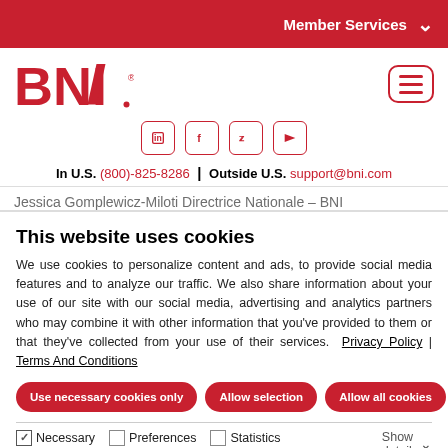Member Services
[Figure (logo): BNI logo in red with stylized N]
In U.S. (800)-825-8286 | Outside U.S. support@bni.com
Jessica Gomplewicz-Miloti Directrice Nationale – BNI
This website uses cookies
We use cookies to personalize content and ads, to provide social media features and to analyze our traffic. We also share information about your use of our site with our social media, advertising and analytics partners who may combine it with other information that you've provided to them or that they've collected from your use of their services. Privacy Policy | Terms And Conditions
Use necessary cookies only
Allow selection
Allow all cookies
☑ Necessary  ☐ Preferences  ☐ Statistics  ☐ Marketing  Show details